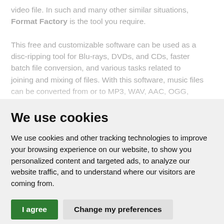video file. In such and many other similar situations, Format Factory is the tool you require.

This free and customizable software can be used as a disc-ripping tool for Blu-rays, DVDs, and CDs, faster batch file conversion, and various tasks related to joining and mixing of files. With this software, music files can be converted from or to MP3, WAV, AAC, OGG, WMA, and many more. The
We use cookies
We use cookies and other tracking technologies to improve your browsing experience on our website, to show you personalized content and targeted ads, to analyze our website traffic, and to understand where our visitors are coming from.
I agree   Change my preferences